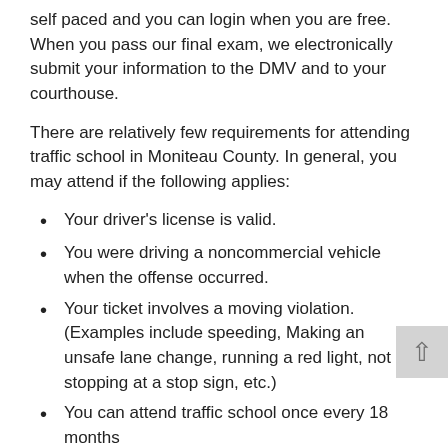self paced and you can login when you are free. When you pass our final exam, we electronically submit your information to the DMV and to your courthouse.
There are relatively few requirements for attending traffic school in Moniteau County. In general, you may attend if the following applies:
Your driver's license is valid.
You were driving a noncommercial vehicle when the offense occurred.
Your ticket involves a moving violation. (Examples include speeding, Making an unsafe lane change, running a red light, not stopping at a stop sign, etc.)
You can attend traffic school once every 18 months
Also the court should have provided paperwork for you when you opted to take a traffic school.
When possible, we eFile Certificate Directly